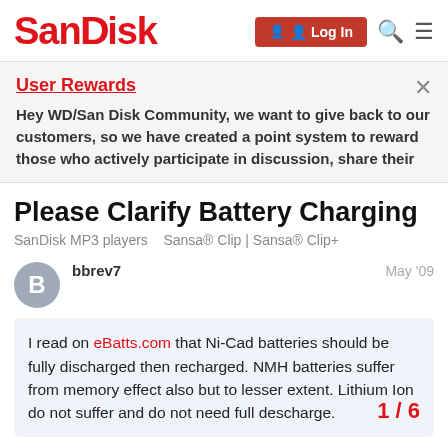SanDisk
User Rewards
Hey WD/San Disk Community, we want to give back to our customers, so we have created a point system to reward those who actively participate in discussion, share their
Please Clarify Battery Charging
SanDisk MP3 players   Sansa® Clip | Sansa® Clip+
bbrev7   May '09
I read on eBatts.com that Ni-Cad batteries should be fully discharged then recharged. NMH batteries suffer from memory effect also but to lesser extent. Lithium Ion do not suffer and do not need full descharge.
1 / 6